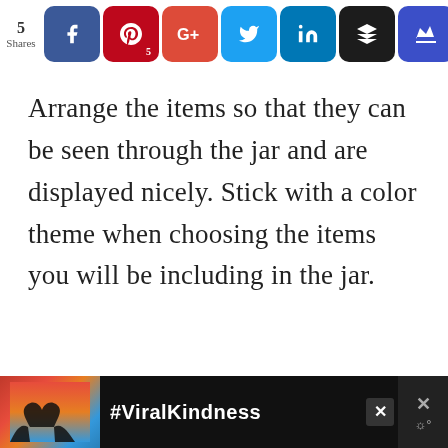[Figure (screenshot): Social media share bar showing 5 Shares, with buttons for Facebook, Pinterest (5), Google+, Twitter, LinkedIn, Buffer, and a crown/bookmark button]
Arrange the items so that they can be seen through the jar and are displayed nicely. Stick with a color theme when choosing the items you will be including in the jar.
[Figure (screenshot): Advertisement banner with a heart-hands silhouette photo, #ViralKindness text, close button, and a weather/app icon on dark background]